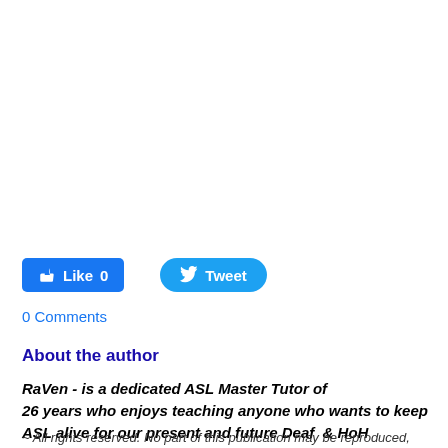[Figure (other): Facebook Like button (blue rounded rectangle) showing 'Like 0' and Twitter Tweet button (blue pill shape) showing 'Tweet']
0 Comments
About the author
RaVen - is a dedicated ASL Master Tutor of 26 years who enjoys teaching anyone who wants to keep ASL alive for our present and future Deaf & HoH community.
~ All rights reserved. No part of this publication may be reproduced, stored or transmitted in